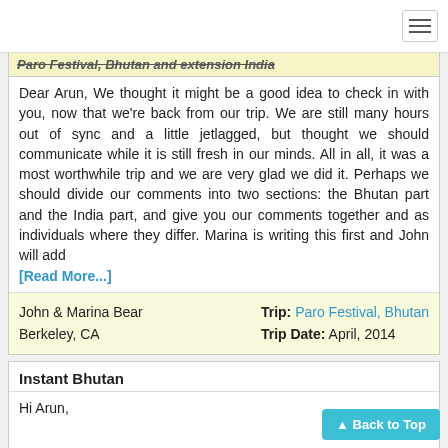Paro Festival, Bhutan and extension India
Dear Arun, We thought it might be a good idea to check in with you, now that we're back from our trip. We are still many hours out of sync and a little jetlagged, but thought we should communicate while it is still fresh in our minds. All in all, it was a most worthwhile trip and we are very glad we did it. Perhaps we should divide our comments into two sections: the Bhutan part and the India part, and give you our comments together and as individuals where they differ. Marina is writing this first and John will add [Read More...]
John & Marina Bear
Berkeley, CA
Trip: Paro Festival, Bhutan
Trip Date: April, 2014
Instant Bhutan
Hi Arun,

I want to tell you thank you very much. Everything was great in Bhutan, the tour guide, the driver, the sightseen, the flights, etc.